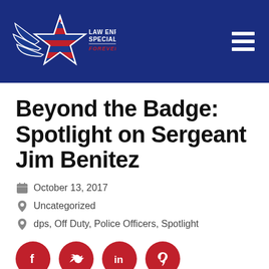[Figure (logo): Law Enforcement Specialists Inc. logo with star and bird design, 'FOREVER TRUE BLUE' tagline, on dark blue header background]
Beyond the Badge: Spotlight on Sergeant Jim Benitez
October 13, 2017
Uncategorized
dps, Off Duty, Police Officers, Spotlight
[Figure (infographic): Social share buttons: Facebook, Twitter, LinkedIn, Pinterest — dark red circular icons]